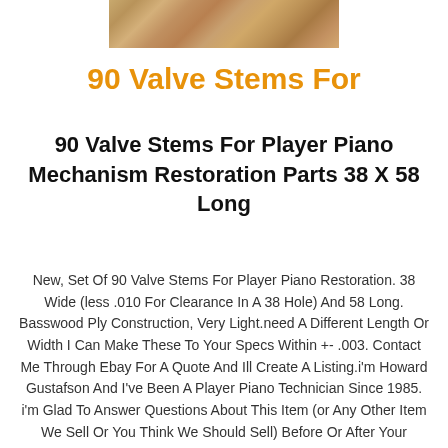[Figure (photo): Cropped photo showing wooden surface texture, partially visible at top of page]
90 Valve Stems For
90 Valve Stems For Player Piano Mechanism Restoration Parts 38 X 58 Long
New, Set Of 90 Valve Stems For Player Piano Restoration. 38 Wide (less .010 For Clearance In A 38 Hole) And 58 Long. Basswood Ply Construction, Very Light.need A Different Length Or Width I Can Make These To Your Specs Within +- .003. Contact Me Through Ebay For A Quote And Ill Create A Listing.i'm Howard Gustafson And I've Been A Player Piano Technician Since 1985. i'm Glad To Answer Questions About This Item (or Any Other Item We Sell Or You Think We Should Sell) Before Or After Your Purchase. my Contact Information Is Included With Each Shipment And You Can Also Reach Me Through Ebay. your Success With My Products Is Very Important To Me, Please Don't Hesitate To Contact Me With Questions Or